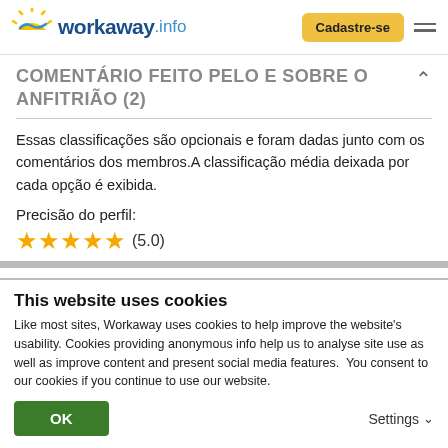workaway.info | Cadastre-se
COMENTÁRIO FEITO PELO E SOBRE O ANFITRIÃO (2)
Essas classificações são opcionais e foram dadas junto com os comentários dos membros.A classificação média deixada por cada opção é exibida.
Precisão do perfil:
★★★★★ (5.0)
This website uses cookies
Like most sites, Workaway uses cookies to help improve the website's usability. Cookies providing anonymous info help us to analyse site use as well as improve content and present social media features.  You consent to our cookies if you continue to use our website.
OK | Settings